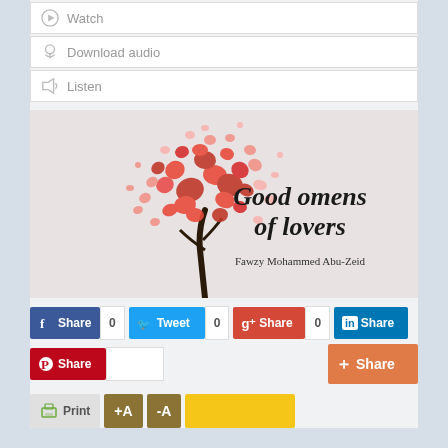Watch
Download audio
Listen
[Figure (illustration): Book cover illustration: a decorative tree made of red hearts on a light background with italic text 'Good omens of lovers' and author name 'Fawzy Mohammed Abu-Zeid']
f Share 0
Tweet 0
g+ Share 0
in Share
Share (Pinterest)
Share (orange)
Print +A -A